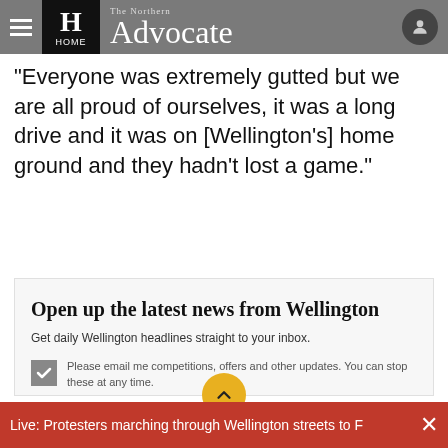The Northern Advocate – HOME
"Everyone was extremely gutted but we are all proud of ourselves, it was a long drive and it was on [Wellington's] home ground and they hadn't lost a game."
Open up the latest news from Wellington
Get daily Wellington headlines straight to your inbox.
Please email me competitions, offers and other updates. You can stop these at any time.
Live: Protesters marching through Wellington streets to F